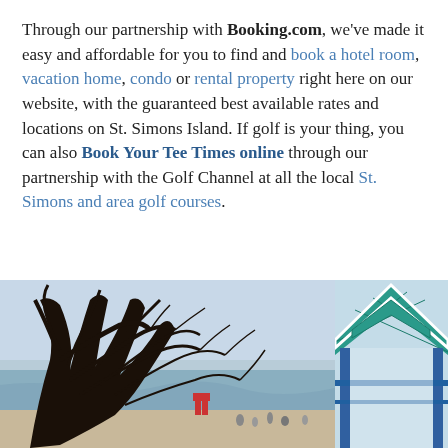Through our partnership with Booking.com, we've made it easy and affordable for you to find and book a hotel room, vacation home, condo or rental property right here on our website, with the guaranteed best available rates and locations on St. Simons Island. If golf is your thing, you can also Book Your Tee Times online through our partnership with the Golf Channel at all the local St. Simons and area golf courses.
[Figure (photo): Photo of a large twisted coastal tree with bare dark branches against a light sky, with a beach scene visible in the background including ocean, a lifeguard chair, and people on the beach.]
[Figure (photo): Photo of a teal/turquoise and white latticed gazebo or pavilion structure with blue metal poles, partially cropped on the right side of the page.]